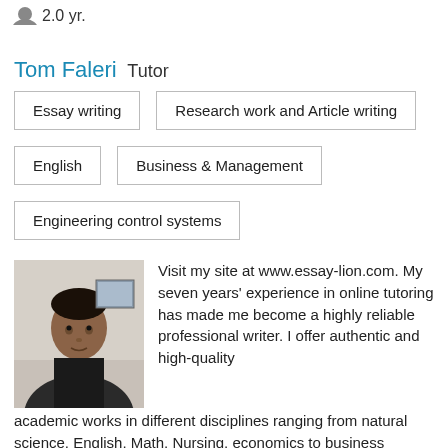2.0 yr.
Tom Faleri Tutor
Essay writing
Research work and Article writing
English
Business & Management
Engineering control systems
[Figure (photo): Profile photo of Tom Faleri, a man wearing a dark jacket, indoors]
Visit my site at www.essay-lion.com. My seven years' experience in online tutoring has made me become a highly reliable professional writer. I offer authentic and high-quality academic works in different disciplines ranging from natural science, English, Math, Nursing, economics to business studies. We deal with all kinds of